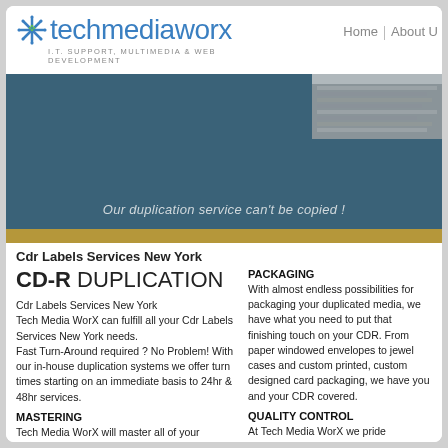[Figure (logo): TechMediaWorx logo with asterisk/star icon in blue and green, text 'techmediaworx' in blue, subtitle 'I.T. SUPPORT, MULTIMEDIA & WEB DEVELOPMENT']
Home | About U
[Figure (photo): Hero banner with dark teal/steel blue background, small photo of stacked items top right, italic tagline at bottom: Our duplication service can't be copied !]
Our duplication service can't be copied !
Cdr Labels Services New York
CD-R DUPLICATION
Cdr Labels Services New York
Tech Media WorX can fulfill all your Cdr Labels Services New York needs.
Fast Turn-Around required ? No Problem! With our in-house duplication systems we offer turn times starting on an immediate basis to 24hr & 48hr services.
MASTERING
Tech Media WorX will master all of your projects with the highest standards. We keep all masters on file to make your reorders
PACKAGING
With almost endless possibilities for packaging your duplicated media, we have what you need to put that finishing touch on your CDR. From paper windowed envelopes to jewel cases and custom printed, custom designed card packaging, we have you and your CDR covered.
QUALITY CONTROL
At Tech Media WorX we pride ourselves in the efforts we put into Quality Control. We...